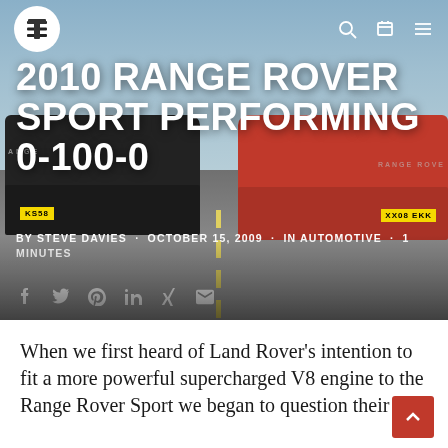[Figure (photo): Two Range Rover Sport SUVs photographed from behind on a runway/tarmac, one black (left) and one orange/red (right), facing away from the camera. Gray sky background.]
2010 RANGE ROVER SPORT PERFORMING 0-100-0
BY STEVE DAVIES · OCTOBER 15, 2009 · IN AUTOMOTIVE · 1 MINUTES
When we first heard of Land Rover's intention to fit a more powerful supercharged V8 engine to the Range Rover Sport we began to question their